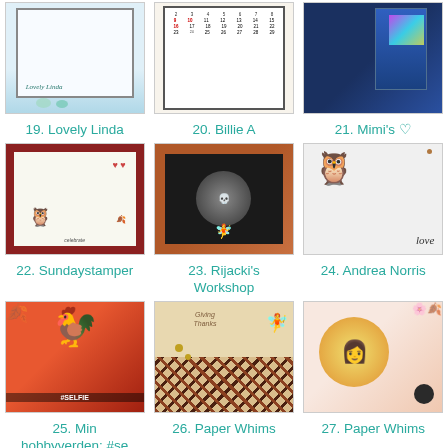[Figure (photo): Thumbnail 19 - Lovely Linda card with illustrated figures]
[Figure (photo): Thumbnail 20 - Billie A card with calendar design]
[Figure (photo): Thumbnail 21 - Mimi's card with dark blue book and holographic element]
19. Lovely Linda
20. Billie A
21. Mimi's ♡
[Figure (photo): Thumbnail 22 - Sundaystamper card with owls in red frame, celebrate text]
[Figure (photo): Thumbnail 23 - Rijacki's Workshop card with mosaic pumpkin border and figure]
[Figure (photo): Thumbnail 24 - Andrea Norris card with owl and love text]
22. Sundaystamper
23. Rijacki's Workshop
24. Andrea Norris
[Figure (photo): Thumbnail 25 - Min hobbyverden #selfie card with rooster]
[Figure (photo): Thumbnail 26 - Paper Whims card with fairy and plaid background]
[Figure (photo): Thumbnail 27 - Paper Whims card with girl in circle and autumn flowers]
25. Min hobbyverden: #se
26. Paper Whims
27. Paper Whims
[Figure (photo): Thumbnail 28 - partial view, gift/red card]
[Figure (photo): Thumbnail 29 - partial view, stamped/patterned card]
[Figure (photo): Thumbnail 30 - partial view, dark brown card]